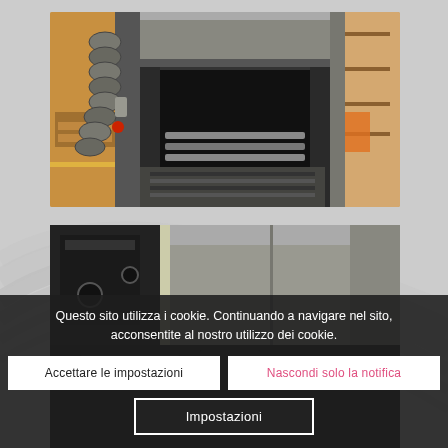[Figure (photo): Industrial machine/oven equipment in a factory/warehouse setting. Close-up of metal machine with ventilation hoses on the left side, dark interior chamber with metal rollers/bars visible. Warehouse storage racks visible in background on the right.]
[Figure (photo): Second photo of industrial equipment, partially visible, showing dark machinery. The bottom portion is covered by a cookie consent overlay.]
Questo sito utilizza i cookie. Continuando a navigare nel sito, acconsentite al nostro utilizzo dei cookie.
Accettare le impostazioni
Nascondi solo la notifica
Impostazioni